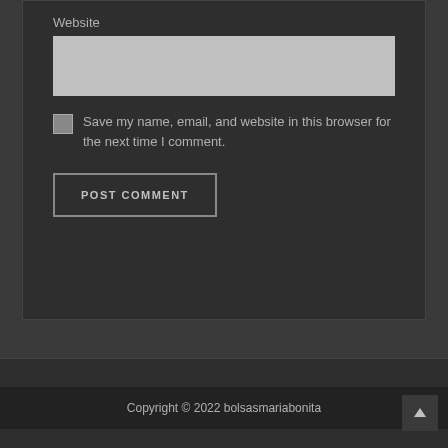Website
Save my name, email, and website in this browser for the next time I comment.
POST COMMENT
Copyright © 2022 bolsasmariabonita